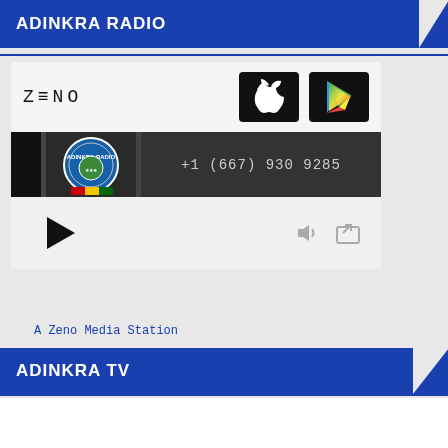ADINKRA RADIO
[Figure (screenshot): Zeno Media radio player widget with ZENO logo, Apple App Store button, Google Play button, station logo with Adinkra Radio badge, phone number +1 (667) 930 9285, play button, volume and share icons]
A Zeno Media Station
ADINKRA TV
Loading